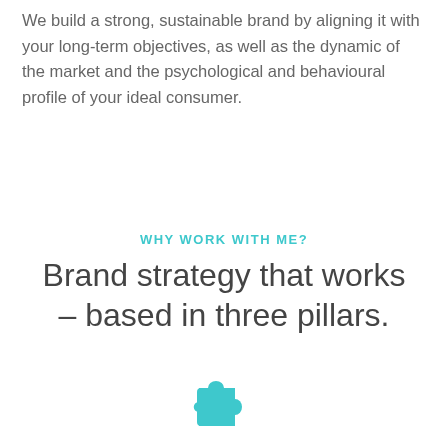We build a strong, sustainable brand by aligning it with your long-term objectives, as well as the dynamic of the market and the psychological and behavioural profile of your ideal consumer.
WHY WORK WITH ME?
Brand strategy that works – based in three pillars.
[Figure (illustration): Teal/cyan puzzle piece icon at the bottom center of the page]